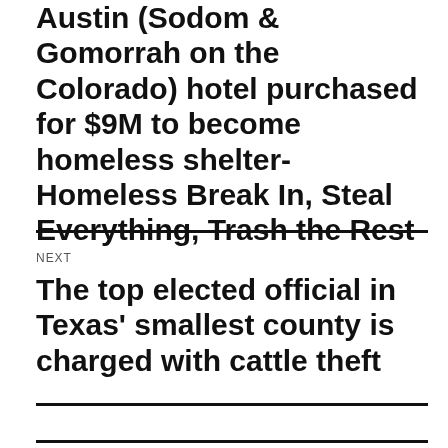Austin (Sodom & Gomorrah on the Colorado) hotel purchased for $9M to become homeless shelter-Homeless Break In, Steal Everything, Trash the Rest
NEXT
The top elected official in Texas' smallest county is charged with cattle theft